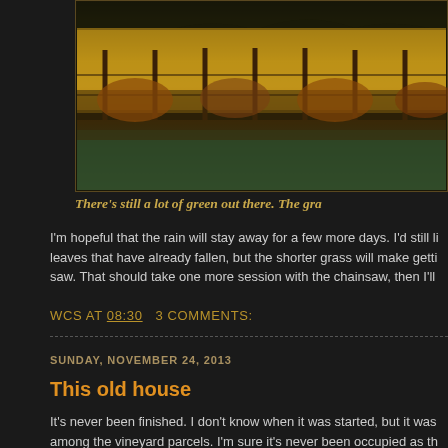[Figure (photo): Autumn vineyard rows with yellow and golden leaves against a dark background, green grass below]
There's still a lot of green out there. The gra
I'm hopeful that the rain will stay away for a few more days. I'd still li leaves that have already fallen, but the shorter grass will make getti saw. That should take one more session with the chainsaw, then I'll
WCS AT 08:30   3 COMMENTS:
SUNDAY, NOVEMBER 24, 2013
This old house
It's never been finished. I don't know when it was started, but it was among the vineyard parcels. I'm sure it's never been occupied as th plumbing apparent, no fixtures, not even a stair to the upper level.